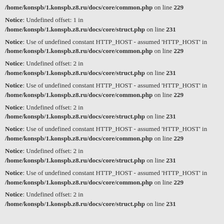/home/konspb/1.konspb.z8.ru/docs/core/common.php on line 229
Notice: Undefined offset: 1 in /home/konspb/1.konspb.z8.ru/docs/core/struct.php on line 231
Notice: Use of undefined constant HTTP_HOST - assumed 'HTTP_HOST' in /home/konspb/1.konspb.z8.ru/docs/core/common.php on line 229
Notice: Undefined offset: 2 in /home/konspb/1.konspb.z8.ru/docs/core/struct.php on line 231
Notice: Use of undefined constant HTTP_HOST - assumed 'HTTP_HOST' in /home/konspb/1.konspb.z8.ru/docs/core/common.php on line 229
Notice: Undefined offset: 2 in /home/konspb/1.konspb.z8.ru/docs/core/struct.php on line 231
Notice: Use of undefined constant HTTP_HOST - assumed 'HTTP_HOST' in /home/konspb/1.konspb.z8.ru/docs/core/common.php on line 229
Notice: Undefined offset: 2 in /home/konspb/1.konspb.z8.ru/docs/core/struct.php on line 231
Notice: Use of undefined constant HTTP_HOST - assumed 'HTTP_HOST' in /home/konspb/1.konspb.z8.ru/docs/core/common.php on line 229
Notice: Undefined offset: 2 in /home/konspb/1.konspb.z8.ru/docs/core/struct.php on line 231